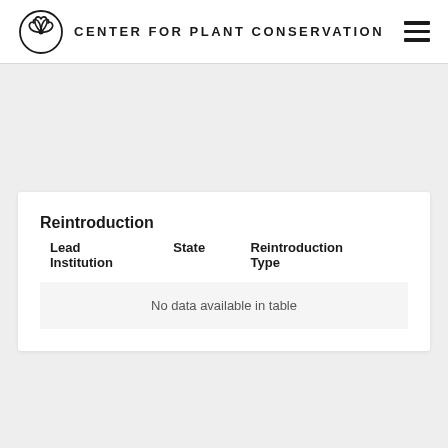CENTER FOR PLANT CONSERVATION
Reintroduction
| Lead Institution | State | Reintroduction Type |
| --- | --- | --- |
| No data available in table |